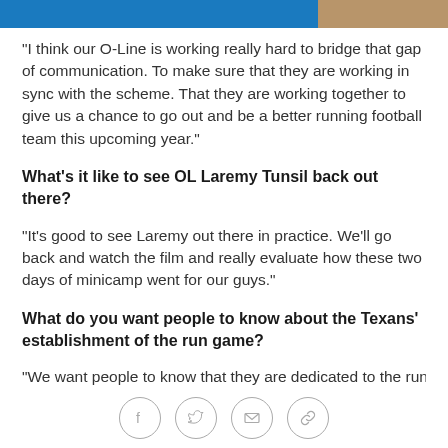[header bar with blue strip and photo]
"I think our O-Line is working really hard to bridge that gap of communication. To make sure that they are working in sync with the scheme. That they are working together to give us a chance to go out and be a better running football team this upcoming year."
What's it like to see OL Laremy Tunsil back out there?
"It's good to see Laremy out there in practice. We'll go back and watch the film and really evaluate how these two days of minicamp went for our guys."
What do you want people to know about the Texans' establishment of the run game?
"We want people to know that they are dedicated to the run..."
social share icons: Facebook, Twitter, Email, Link